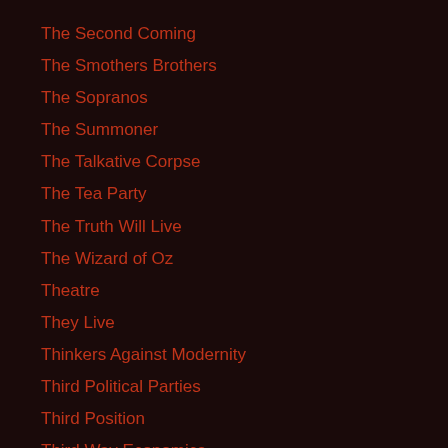The Second Coming
The Smothers Brothers
The Sopranos
The Summoner
The Talkative Corpse
The Tea Party
The Truth Will Live
The Wizard of Oz
Theatre
They Live
Thinkers Against Modernity
Third Political Parties
Third Position
Third Way Economics